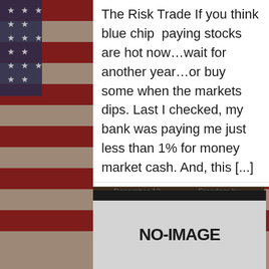[Figure (photo): American flag background image with stars and stripes in dark vintage tones, filling the entire page behind the content card]
The Risk Trade If you think blue chip paying stocks are hot now…wait for another year…or buy some when the markets dips. Last I checked, my bank was paying me just less than 1% for money market cash. And, this [...]
December 12, 2011   Freedom by Friday
[Figure (other): NO-IMAGE placeholder graphic with dark header bar and light gray body containing bold text 'NO-IMAGE']